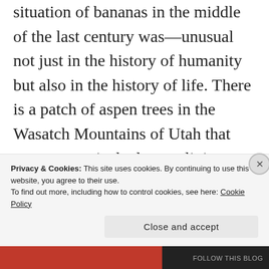situation of bananas in the middle of the last century was—unusual not just in the history of humanity but also in the history of life. There is a patch of aspen trees in the Wasatch Mountains of Utah that many argue is the largest living organism on earth. It comprises some thirty-seven thousand trees, each of which is genetically the same as the other, and the argument goes that the trees, collectively, represent a single organism because they are identical and
Privacy & Cookies: This site uses cookies. By continuing to use this website, you agree to their use. To find out more, including how to control cookies, see here: Cookie Policy
Close and accept